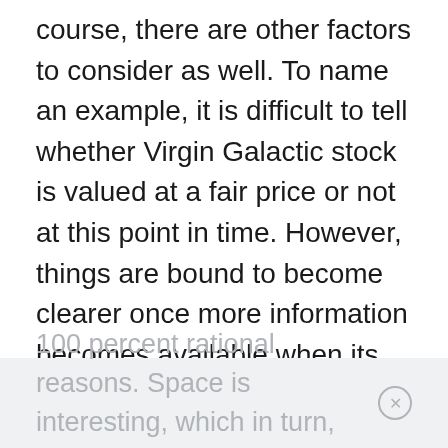course, there are other factors to consider as well. To name an example, it is difficult to tell whether Virgin Galactic stock is valued at a fair price or not at this point in time. However, things are bound to become clearer once more information becomes available when its revenue-earning operations start up. As for stability, well, it seems reasonable to say that Virgin Galactic won't be going away anytime soon. The space industry isn't something that people invest in for
100 percent rational reasons. Space is interesting, which in turn, means that